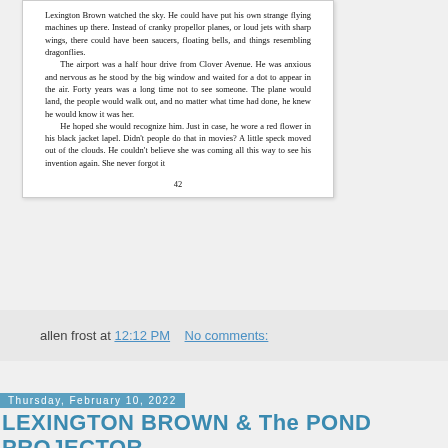Lexington Brown watched the sky. He could have put his own strange flying machines up there. Instead of cranky propellor planes, or loud jets with sharp wings, there could have been saucers, floating bells, and things resembling dragonflies.
    The airport was a half hour drive from Clover Avenue. He was anxious and nervous as he stood by the big window and waited for a dot to appear in the air. Forty years was a long time not to see someone. The plane would land, the people would walk out, and no matter what time had done, he knew he would know it was her.
    He hoped she would recognize him. Just in case, he wore a red flower in his black jacket lapel. Didn't people do that in movies? A little speck moved out of the clouds. He couldn't believe she was coming all this way to see his invention again. She never forgot it
42
allen frost at 12:12 PM    No comments:
Thursday, February 10, 2022
LEXINGTON BROWN & The POND PROJECTOR